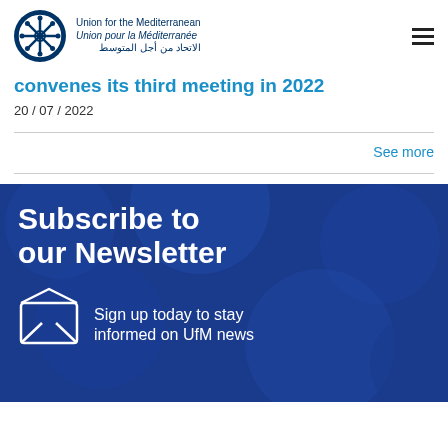Union for the Mediterranean / Union pour la Méditerranée / الاتحاد من أجل المتوسط
convenes its third meeting in 2022
20 / 07 / 2022
See more
[Figure (illustration): Newsletter subscription banner with dark blue background, large white text 'Subscribe to our Newsletter', envelope icon, and text 'Sign up today to stay informed on UfM news']